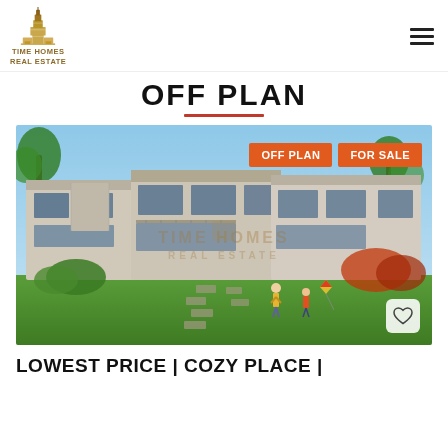TIME HOMES REAL ESTATE
OFF PLAN
[Figure (photo): Exterior render of modern townhouses with large glass windows, landscaped garden with green lawn, palm trees, red flowering bushes, children playing. Watermark 'TIME HOMES REAL ESTATE' centered. Orange badge 'OFF PLAN' and 'FOR SALE' top right. Heart/favorite button bottom right.]
LOWEST PRICE | COZY PLACE |